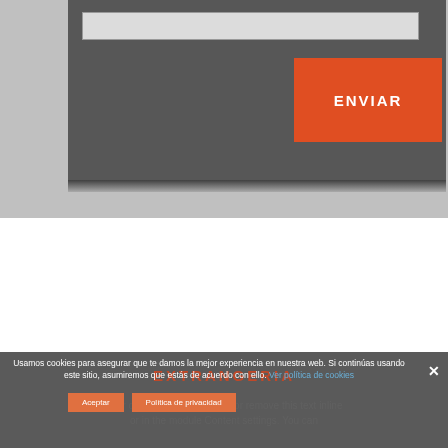[Figure (screenshot): Dark gray panel with a light input bar at top and an orange ENVIAR (send) button, shown on a light gray background. This appears to be a web form submission area.]
ENVIAR
Usamos cookies para asegurar que te damos la mejor experiencia en nuestra web. Si continúas usando este sitio, asumiremos que estás de acuerdo con ello. Ver política de cookies
Aceptar
Política de privacidad
EXTRANGERIA
Your content goes here. Edit or remove this text inline or in the module Content settings. You can